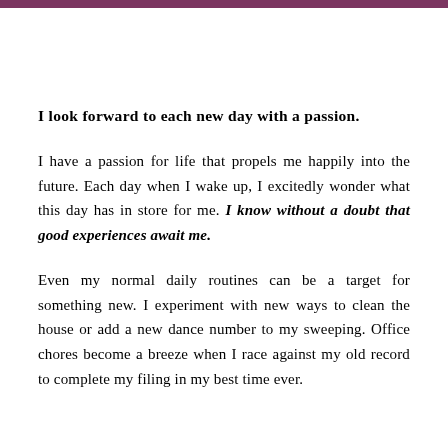I look forward to each new day with a passion.
I have a passion for life that propels me happily into the future. Each day when I wake up, I excitedly wonder what this day has in store for me. I know without a doubt that good experiences await me.
Even my normal daily routines can be a target for something new. I experiment with new ways to clean the house or add a new dance number to my sweeping. Office chores become a breeze when I race against my old record to complete my filing in my best time ever.